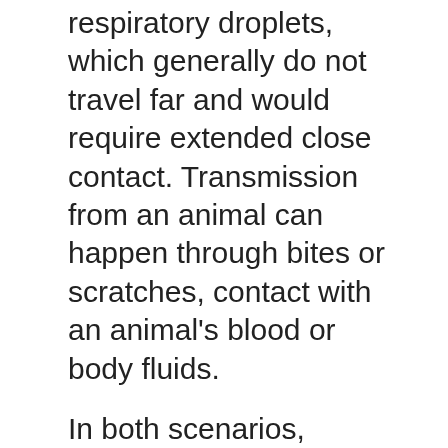respiratory droplets, which generally do not travel far and would require extended close contact. Transmission from an animal can happen through bites or scratches, contact with an animal's blood or body fluids.
In both scenarios, infection is also possible through direct contact with body fluids or material like clothing or bedding. Broken skin – even microscopic abrasions, and mucous membranes like the eyes can all be entry points for the virus. Like COVID-19, it can enter through the respiratory tract.
Anyone can catch it, but historically, children under the age of 16 have made up the largest proportion of cases.